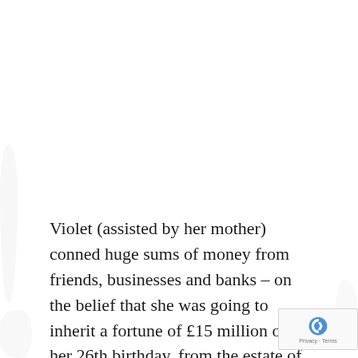Violet (assisted by her mother) conned huge sums of money from friends, businesses and banks – on the belief that she was going to inherit a fortune of £15 million on her 26th birthday, from the estate of the late Lord George Gordon of Khartoum. She needed money to support her life style: fast cars